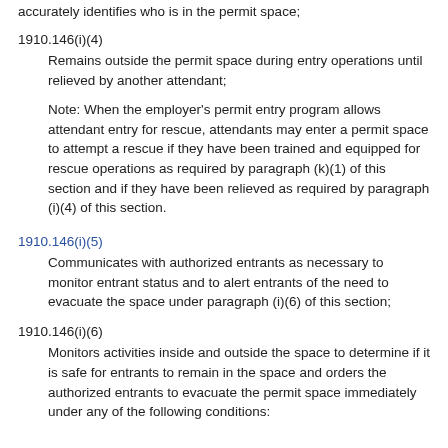accurately identifies who is in the permit space;
1910.146(i)(4)
Remains outside the permit space during entry operations until relieved by another attendant;
Note: When the employer's permit entry program allows attendant entry for rescue, attendants may enter a permit space to attempt a rescue if they have been trained and equipped for rescue operations as required by paragraph (k)(1) of this section and if they have been relieved as required by paragraph (i)(4) of this section.
1910.146(i)(5)
Communicates with authorized entrants as necessary to monitor entrant status and to alert entrants of the need to evacuate the space under paragraph (i)(6) of this section;
1910.146(i)(6)
Monitors activities inside and outside the space to determine if it is safe for entrants to remain in the space and orders the authorized entrants to evacuate the permit space immediately under any of the following conditions: